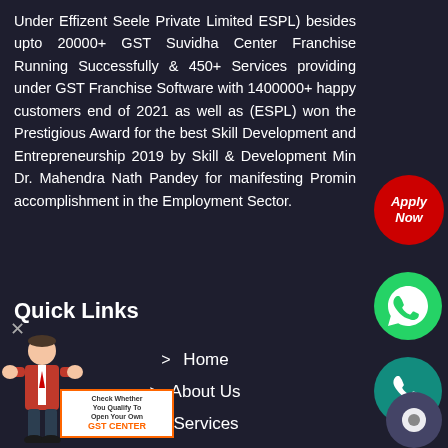Under Effizent Seele Private Limited ESPL) besides upto 20000+ GST Suvidha Center Franchise Running Successfully & 450+ Services providing under GST Franchise Software with 1400000+ happy customers end of 2021 as well as (ESPL) won the Prestigious Award for the best Skill Development and Entrepreneurship 2019 by Skill & Development Min Dr. Mahendra Nath Pandey for manifesting Promin accomplishment in the Employment Sector.
[Figure (illustration): Red circular Apply Now button with italic white text]
Quick Links
[Figure (illustration): WhatsApp green circular icon]
> Home
[Figure (illustration): Green circular phone/call icon]
> About Us
> Services
> Blog
> Apply
[Figure (illustration): Bottom left mascot character holding a sign about GST Center check eligibility]
[Figure (illustration): Bottom right dark circular icon]